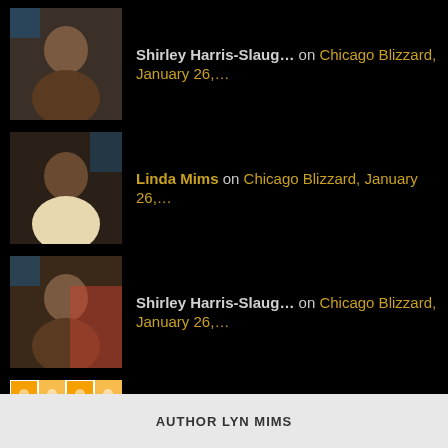Shirley Harris-Slaug… on Chicago Blizzard, January 26,…
Linda Mims on Chicago Blizzard, January 26,…
Shirley Harris-Slaug… on Chicago Blizzard, January 26,…
Kristyna on Chicago Blizzard, January 26,…
Linda Mims on About Last Night
Follow The Long and Short Stories of Life
AUTHOR LYN MIMS